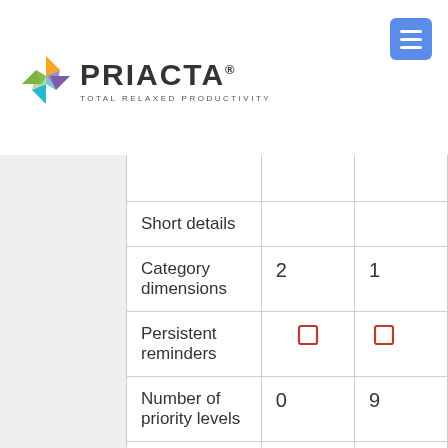[Figure (logo): Priacta logo with colorful diamond icon and text 'PRIACTA TOTAL RELAXED PRODUCTIVITY']
|  |  |  |
| --- | --- | --- |
| Short details |  |  |
| Category dimensions | 2 | 1 |
| Persistent reminders | ☐ | ☐ |
| Number of priority levels | 0 | 9 |
| Number of prioritization dimensions (besides | 0 | 0 |